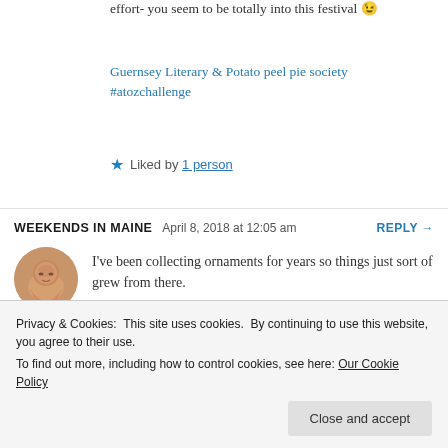effort- you seem to be totally into this festival 😉
Guernsey Literary & Potato peel pie society
#atozchallenge
★ Liked by 1 person
WEEKENDS IN MAINE  April 8, 2018 at 12:05 am  REPLY →
I've been collecting ornaments for years so things just sort of grew from there.
★ Like
Privacy & Cookies: This site uses cookies. By continuing to use this website, you agree to their use.
To find out more, including how to control cookies, see here: Our Cookie Policy
Close and accept
Hello